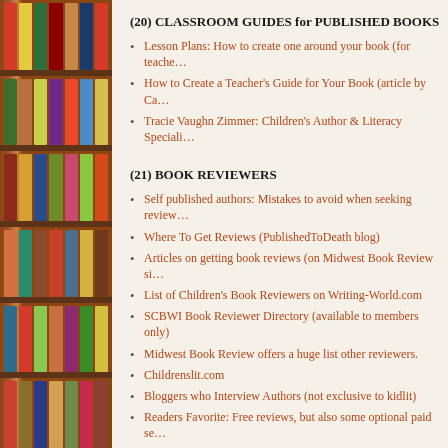[Figure (photo): Bookshelf with colorful books on the left side of the page]
(20) CLASSROOM GUIDES for PUBLISHED BOOKS
Lesson Plans: How to create one around your book (for teache…
How to Create a Teacher's Guide for Your Book (article by Ca…
Tracie Vaughn Zimmer: Children's Author & Literacy Speciali…
(21) BOOK REVIEWERS
Self published authors: Mistakes to avoid when seeking review…
Where To Get Reviews (PublishedToDeath blog)
Articles on getting book reviews (on Midwest Book Review si…
List of Children's Book Reviewers on Writing-World.com
SCBWI Book Reviewer Directory (available to members only)
Midwest Book Review offers a huge list other reviewers.
Childrenslit.com
Bloggers who Interview Authors (not exclusive to kidlit)
Readers Favorite: Free reviews, but also some optional paid se…
(22) ILLUSTRATION and IMAGES